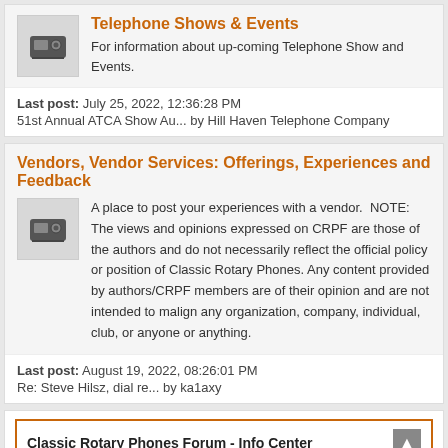Telephone Shows & Events
For information about up-coming Telephone Show and Events.
Last post: July 25, 2022, 12:36:28 PM
51st Annual ATCA Show Au... by Hill Haven Telephone Company
Vendors, Vendor Services: Offerings, Experiences and Feedback
A place to post your experiences with a vendor. NOTE: The views and opinions expressed on CRPF are those of the authors and do not necessarily reflect the official policy or position of Classic Rotary Phones. Any content provided by authors/CRPF members are of their opinion and are not intended to malign any organization, company, individual, club, or anyone or anything.
Last post: August 19, 2022, 08:26:01 PM
Re: Steve Hilsz, dial re... by ka1axy
Classic Rotary Phones Forum - Info Center